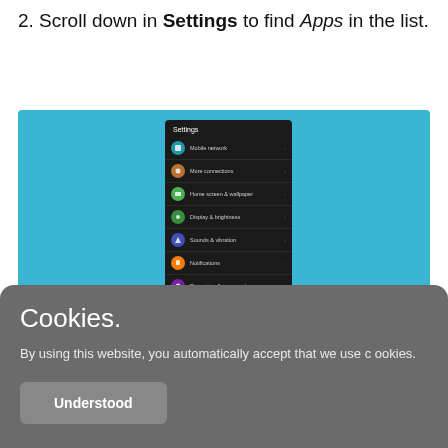2. Scroll down in Settings to find Apps in the list.
[Figure (screenshot): Screenshot of an Android phone Settings menu on a teal background, showing menu items: Mobile network, More connections, Home screen & wallpaper, Display & brightness, Sounds & vibration, Notifications, Biometrics & password, Apps (highlighted with a red arrow pointing to it).]
Cookies.
By using this website, you automatically accept that we use cookies.
Understood